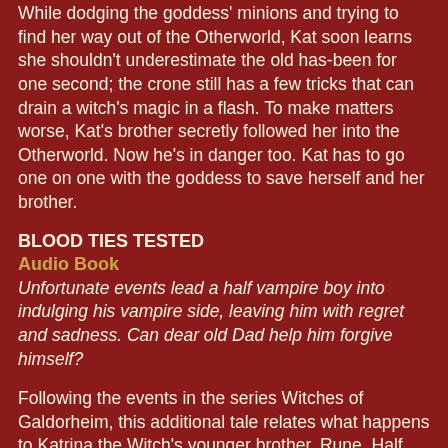While dodging the goddess' minions and trying to find her way out of the Otherworld, Kat soon learns she shouldn't underestimate the old has-been for one second; the crone still has a few tricks that can drain a witch's magic in a flash. To make matters worse, Kat's brother secretly followed her into the Otherworld. Now he's in danger too. Kat has to go one on one with the goddess to save herself and her brother.
BLOOD TIES TESTED
Audio Book
Unfortunate events lead a half vampire boy into indulging his vampire side, leaving him with regret and sadness. Can dear old Dad help him forgive himself?
Following the events in the series Witches of Galdorheim, this additional tale relates what happens to Katrina the Witch's younger brother, Rune. Half vampire and half warlock, he faces life with a wisecrack and some powerful magic. Whatever happens, he does not want to be a vampire like his father. Unfortunate events lead him to fatally call on his vampire half. This failure leaves him in anguish. How can he assuage the guilt he feels? His mother thinks he needs to visit dear old dad, but papa is residing in the Tat...